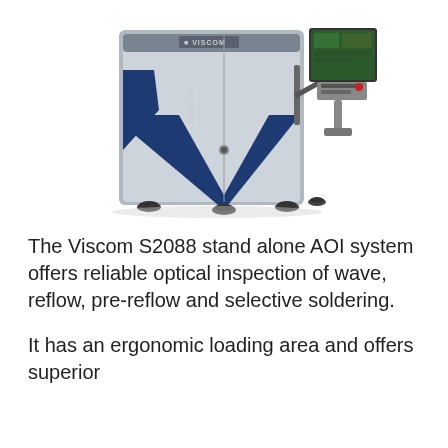[Figure (photo): Viscom S3088 ultra stand-alone AOI (Automated Optical Inspection) machine. A large industrial inspection unit with a silver and dark blue casing featuring a prominent blue V-shaped design element on the front panel. The machine has a monitor arm with a display screen angled upward at the top right, and four adjustable feet at the base. The Viscom logo appears at the top of the unit.]
The Viscom S2088 stand alone AOI system offers reliable optical inspection of wave, reflow, pre-reflow and selective soldering.
It has an ergonomic loading area and offers superior